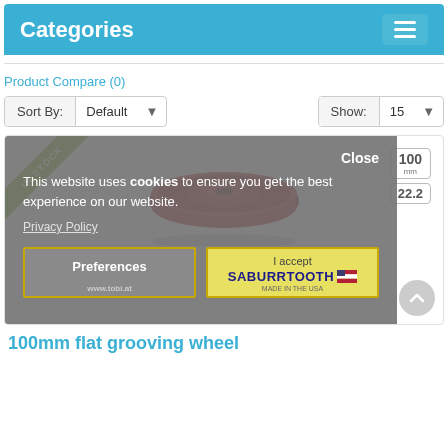Categories
Product Compare (0)
Sort By: Default   Show: 15
[Figure (screenshot): Product listing page with cookie consent overlay. Shows an 'IN STOCK' ribbon, size badges (100mm, 22.2), a red grooving wheel product image, and a cookie consent modal with 'Preferences' and 'I accept / SABURRTOOTH' buttons. Product title: '100mm flat grooving wheel'.]
This website uses cookies to ensure you get the best experience on our website.
Privacy Policy
Preferences
I accept SABURRTOOTH
100mm flat grooving wheel